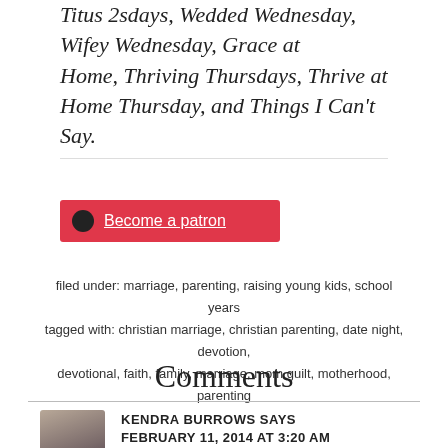Titus 2sdays, Wedded Wednesday, Wifey Wednesday, Grace at Home, Thriving Thursdays, Thrive at Home Thursday, and Things I Can't Say.
[Figure (other): Red Patreon button with circle icon and 'Become a patron' text]
filed under: marriage, parenting, raising young kids, school years
tagged with: christian marriage, christian parenting, date night, devotion, devotional, faith, family, marriage, mom guilt, motherhood, parenting
Comments
KENDRA BURROWS SAYS
FEBRUARY 11, 2014 AT 3:20 AM